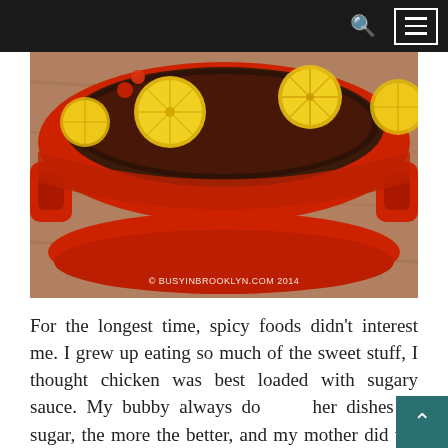busyinbrooklyn.com — navigation bar with search and menu icons
[Figure (photo): Close-up photograph of a red Dutch oven or casserole dish containing a dark braised dish topped with caramelized lemon slices, set on a wooden surface. Watermark reads '© BUSYINBROOKLYN.COM 2014'.]
For the longest time, spicy foods didn't interest me. I grew up eating so much of the sweet stuff, I thought chicken was best loaded with sugary sauce. My bubby always do her dishes in sugar, the more the better, and my mother did the same. Fish, chicken, salad,